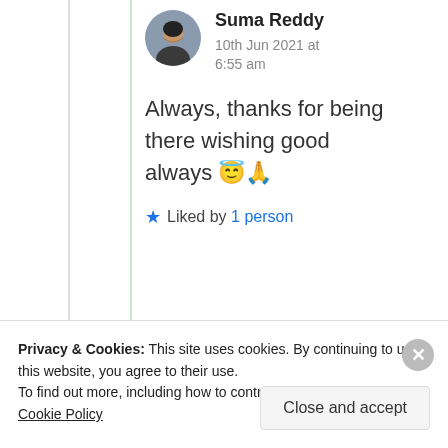Suma Reddy
10th Jun 2021 at 6:55 am
Always, thanks for being there wishing good always 😇🙏
★ Liked by 1 person
Advertisements
Content Analytics Made Easy
Privacy & Cookies: This site uses cookies. By continuing to use this website, you agree to their use.
To find out more, including how to control cookies, see here: Cookie Policy
Close and accept